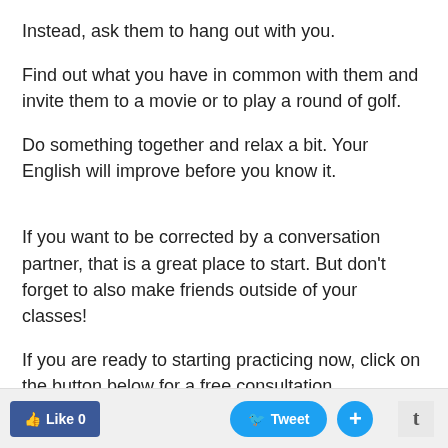Instead, ask them to hang out with you.
Find out what you have in common with them and invite them to a movie or to play a round of golf.
Do something together and relax a bit. Your English will improve before you know it.
If you want to be corrected by a conversation partner, that is a great place to start. But don't forget to also make friends outside of your classes!
If you are ready to starting practicing now, click on the button below for a free consultation.
Like 0  Tweet  +  t